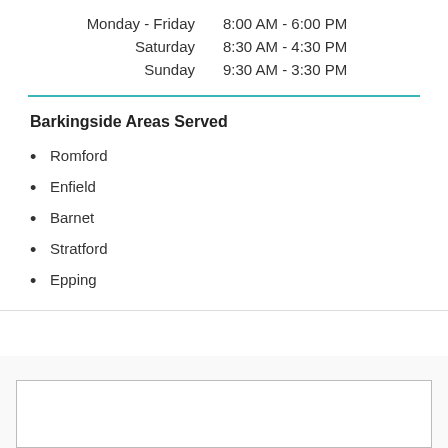| Monday - Friday | 8:00 AM - 6:00 PM |
| Saturday | 8:30 AM - 4:30 PM |
| Sunday | 9:30 AM - 3:30 PM |
Barkingside Areas Served
Romford
Enfield
Barnet
Stratford
Epping